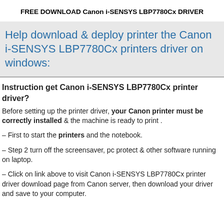FREE DOWNLOAD Canon i-SENSYS LBP7780Cx DRIVER
Help download & deploy printer the Canon i-SENSYS LBP7780Cx printers driver on windows:
Instruction get Canon i-SENSYS LBP7780Cx printer driver?
Before setting up the printer driver, your Canon printer must be correctly installed & the machine is ready to print .
– First to start the printers and the notebook.
– Step 2 turn off the screensaver, pc protect & other software running on laptop.
– Click on link above to visit Canon i-SENSYS LBP7780Cx printer driver download page from Canon server, then download your driver and save to your computer.